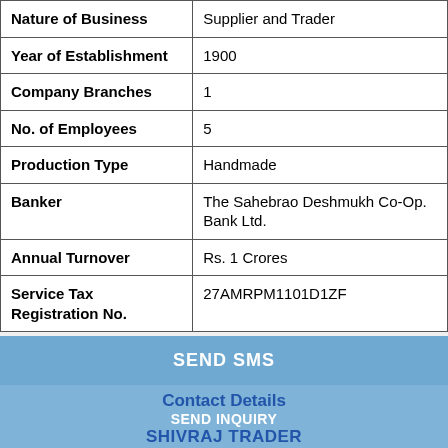| Field | Value |
| --- | --- |
| Nature of Business | Supplier and Trader |
| Year of Establishment | 1900 |
| Company Branches | 1 |
| No. of Employees | 5 |
| Production Type | Handmade |
| Banker | The Sahebrao Deshmukh Co-Op. Bank Ltd. |
| Annual Turnover | Rs. 1 Crores |
| Service Tax Registration No. | 27AMRPM1101D1ZF |
SEND SMS
Contact Details
SEND INQUIRY
SHIVRAJ TRADER